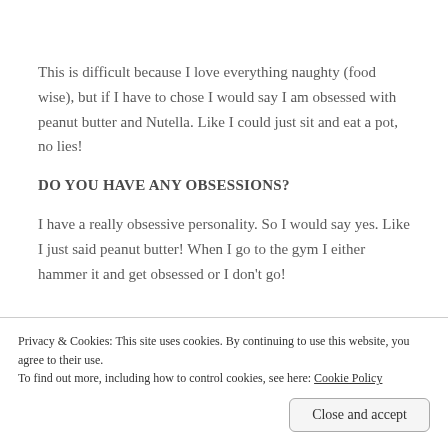This is difficult because I love everything naughty (food wise), but if I have to chose I would say I am obsessed with peanut butter and Nutella. Like I could just sit and eat a pot, no lies!
DO YOU HAVE ANY OBSESSIONS?
I have a really obsessive personality. So I would say yes. Like I just said peanut butter! When I go to the gym I either hammer it and get obsessed or I don't go!
Privacy & Cookies: This site uses cookies. By continuing to use this website, you agree to their use.
To find out more, including how to control cookies, see here: Cookie Policy
Close and accept